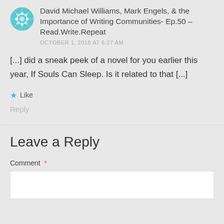David Michael Williams, Mark Engels, & the Importance of Writing Communities- Ep.50 – Read.Write.Repeat
OCTOBER 1, 2018 AT 6:27 AM
[...] did a sneak peek of a novel for you earlier this year, If Souls Can Sleep. Is it related to that [...]
Like
Reply
Leave a Reply
Comment *